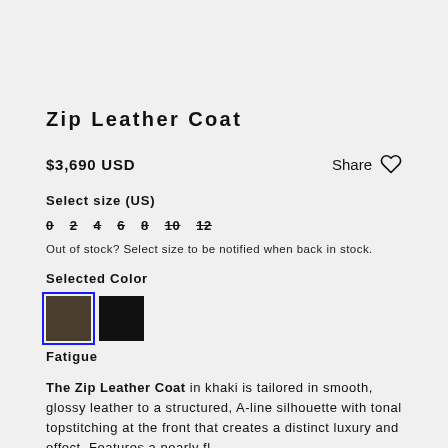Zip Leather Coat
$3,690 USD
Share
Select size (US)
0
2
4
6
8
10
12
Out of stock? Select size to be notified when back in stock.
Selected Color
Fatigue
The Zip Leather Coat in khaki is tailored in smooth, glossy leather to a structured, A-line silhouette with tonal topstitching at the front that creates a distinct luxury and effect. Features a nearly fl